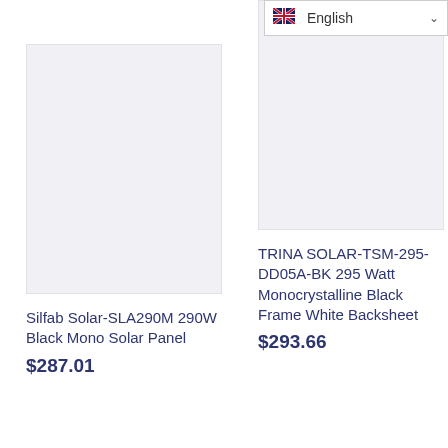[Figure (screenshot): UK flag icon in language selector]
English
[Figure (photo): Product image placeholder for Silfab Solar-SLA290M 290W Black Mono Solar Panel]
Silfab Solar-SLA290M 290W Black Mono Solar Panel
$287.01
[Figure (photo): Product image placeholder for TRINA SOLAR-TSM-295-DD05A-BK 295 Watt Monocrystalline Black Frame White Backsheet]
TRINA SOLAR-TSM-295-DD05A-BK 295 Watt Monocrystalline Black Frame White Backsheet
$293.66